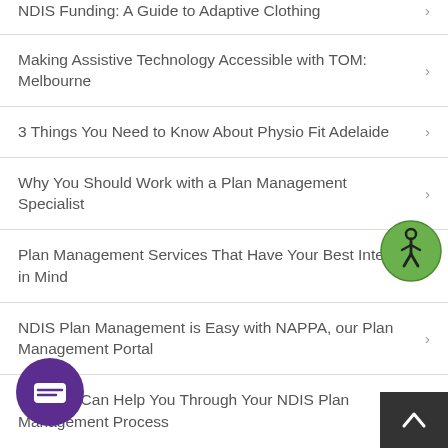NDIS Funding: A Guide to Adaptive Clothing
Making Assistive Technology Accessible with TOM: Melbourne
3 Things You Need to Know About Physio Fit Adelaide
Why You Should Work with a Plan Management Specialist
Plan Management Services That Have Your Best Interest in Mind
NDIS Plan Management is Easy with NAPPA, our Plan Management Portal
How We Can Help You Through Your NDIS Plan Management Process